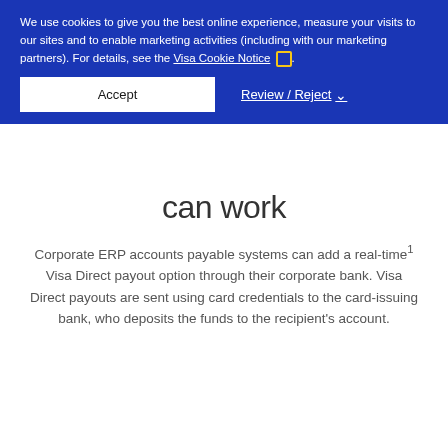We use cookies to give you the best online experience, measure your visits to our sites and to enable marketing activities (including with our marketing partners). For details, see the Visa Cookie Notice .
Accept | Review / Reject
can work
Corporate ERP accounts payable systems can add a real-time¹ Visa Direct payout option through their corporate bank. Visa Direct payouts are sent using card credentials to the card-issuing bank, who deposits the funds to the recipient's account.
[Figure (infographic): Infographic showing a payment flow: a laptop with binary code, an arrow, a bank building with dollar sign, an arrow, and a person holding a phone celebrating receiving payment.]